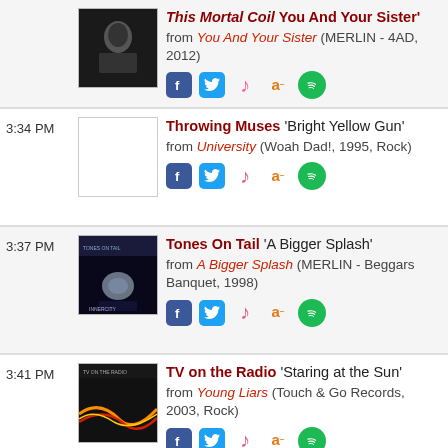This Mortal Coil 'You And Your Sister' from You And Your Sister (MERLIN - 4AD, 2012)
3:34 PM - Throwing Muses 'Bright Yellow Gun' from University (Woah Dad!, 1995, Rock)
3:37 PM - Tones On Tail 'A Bigger Splash' from A Bigger Splash (MERLIN - Beggars Banquet, 1998)
3:41 PM - TV on the Radio 'Staring at the Sun' from Young Liars (Touch & Go Records, 2003, Rock)
3:45 PM - Twin Shadow 'The One'